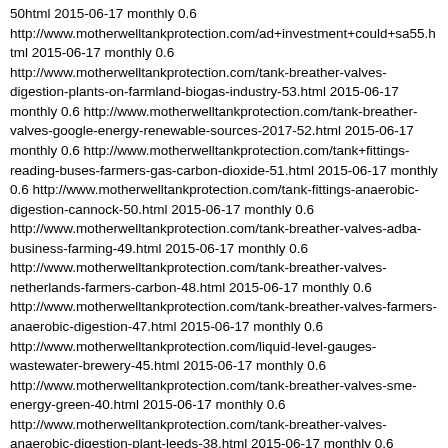50html 2015-06-17 monthly 0.6 http://www.motherwelltankprotection.com/ad+investment+could+sa55.html 2015-06-17 monthly 0.6 http://www.motherwelltankprotection.com/tank-breather-valves-digestion-plants-on-farmland-biogas-industry-53.html 2015-06-17 monthly 0.6 http://www.motherwelltankprotection.com/tank-breather-valves-google-energy-renewable-sources-2017-52.html 2015-06-17 monthly 0.6 http://www.motherwelltankprotection.com/tank+fittings-reading-buses-farmers-gas-carbon-dioxide-51.html 2015-06-17 monthly 0.6 http://www.motherwelltankprotection.com/tank-fittings-anaerobic-digestion-cannock-50.html 2015-06-17 monthly 0.6 http://www.motherwelltankprotection.com/tank-breather-valves-adba-business-farming-49.html 2015-06-17 monthly 0.6 http://www.motherwelltankprotection.com/tank-breather-valves-netherlands-farmers-carbon-48.html 2015-06-17 monthly 0.6 http://www.motherwelltankprotection.com/tank-breather-valves-farmers-anaerobic-digestion-47.html 2015-06-17 monthly 0.6 http://www.motherwelltankprotection.com/liquid-level-gauges-wastewater-brewery-45.html 2015-06-17 monthly 0.6 http://www.motherwelltankprotection.com/tank-breather-valves-sme-energy-green-40.html 2015-06-17 monthly 0.6 http://www.motherwelltankprotection.com/tank-breather-valves-anaerobic-digestion-plant-leeds-38.html 2015-06-17 monthly 0.6 http://www.motherwelltankprotection.com/emergency-relief-vents-biogas-39.html 2015-06-17 monthly 0.6